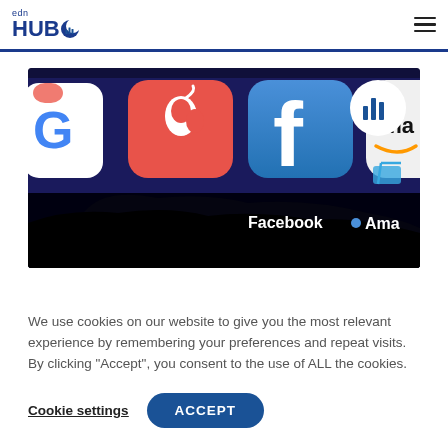edn HUB
[Figure (photo): Close-up of a smartphone screen showing app icons including Google, Apple, Facebook, and Amazon apps with a silhouetted hand in the background]
We use cookies on our website to give you the most relevant experience by remembering your preferences and repeat visits. By clicking “Accept”, you consent to the use of ALL the cookies.
Cookie settings  ACCEPT